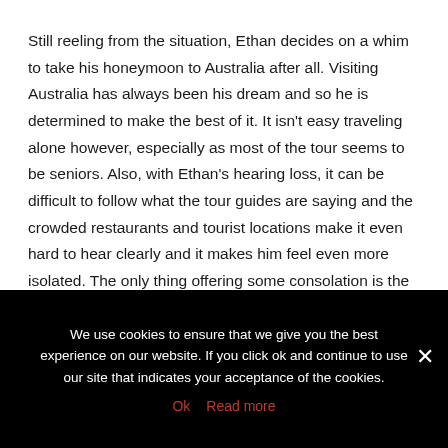Still reeling from the situation, Ethan decides on a whim to take his honeymoon to Australia after all. Visiting Australia has always been his dream and so he is determined to make the best of it. It isn't easy traveling alone however, especially as most of the tour seems to be seniors. Also, with Ethan's hearing loss, it can be difficult to follow what the tour guides are saying and the crowded restaurants and tourist locations make it even hard to hear clearly and it makes him feel even more isolated. The only thing offering some consolation is the presence of the hunky bus driver, Clay Kelly.
We use cookies to ensure that we give you the best experience on our website. If you click ok and continue to use our site that indicates your acceptance of the cookies.
Ok   Read more